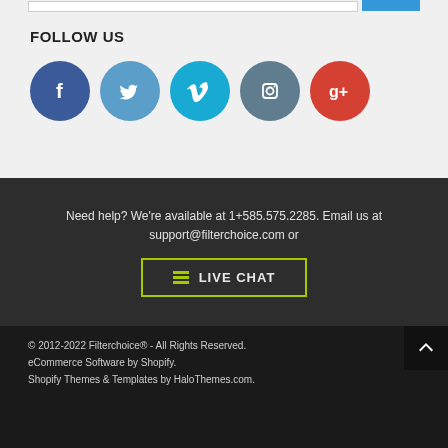FOLLOW US
[Figure (illustration): Five social media icon circles: Facebook (dark blue), Twitter (light blue), Vimeo (cyan), Instagram (slate blue), Google+ (red)]
Need help? We're available at 1+585.575.2285. Email us at support@filterchoice.com or
[Figure (other): Live Chat button with green border and hamburger icon]
© 2012-2022 Filterchoice® - All Rights Reserved.
eCommerce Software by Shopify.
Shopify Themes & Templates by HaloThemes.com.